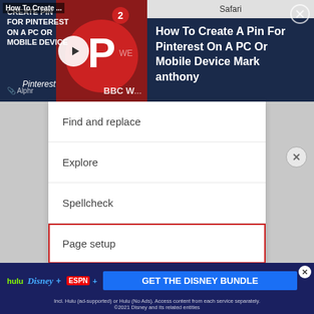[Figure (screenshot): Video ad banner showing Pinterest tutorial video thumbnail with play button, title 'How To Create A Pin For Pinterest On A PC Or Mobile Device Mark anthony', Safari browser bar, and close button on dark navy background]
[Figure (screenshot): Dropdown context menu on grey background showing items: Find and replace, Explore, Spellcheck, Page setup (highlighted with red border), Word count (with chevron), Share & export (with chevron)]
[Figure (screenshot): Disney Bundle ad banner at bottom showing Hulu, Disney+, ESPN+ logos, 'GET THE DISNEY BUNDLE' CTA button, and fine print about subscription terms]